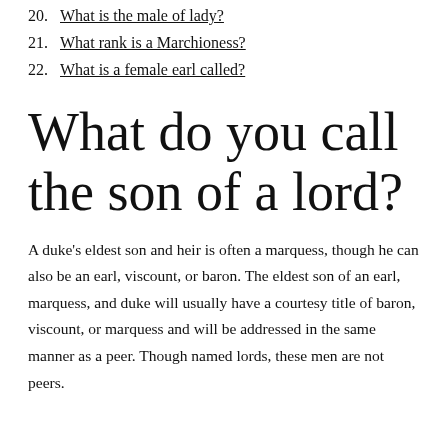20. What is the male of lady?
21. What rank is a Marchioness?
22. What is a female earl called?
What do you call the son of a lord?
A duke's eldest son and heir is often a marquess, though he can also be an earl, viscount, or baron. The eldest son of an earl, marquess, and duke will usually have a courtesy title of baron, viscount, or marquess and will be addressed in the same manner as a peer. Though named lords, these men are not peers.